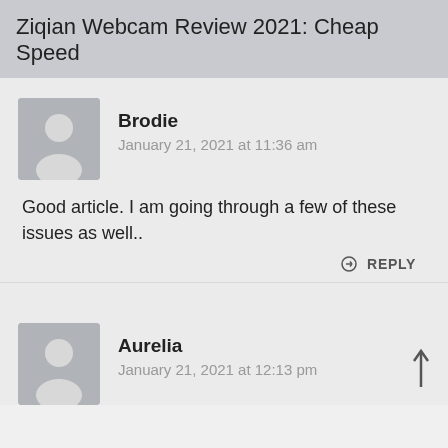Ziqian Webcam Review 2021: Cheap Speed
Brodie
January 21, 2021 at 11:36 am
Good article. I am going through a few of these issues as well..
REPLY
Aurelia
January 21, 2021 at 12:13 pm